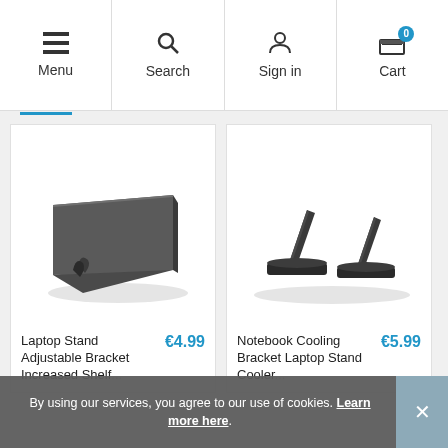Menu | Search | Sign in | Cart
[Figure (photo): Black laptop stand adjustable bracket product photo on white background]
Laptop Stand Adjustable Bracket Increased Shelf
€4.99
[Figure (photo): Two black notebook cooling bracket laptop stand cooler pieces on white background]
Notebook Cooling Bracket Laptop Stand Cooler
€5.99
By using our services, you agree to our use of cookies. Learn more here.